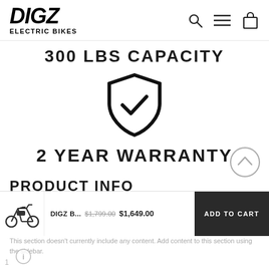DIGZ ELECTRIC BIKES
300 LBS CAPACITY
[Figure (illustration): Shield with checkmark icon, black outline]
2 YEAR WARRANTY
PRODUCT INFO
DIGZ B...  $1,799.00  $1,649.00  ADD TO CART
This section doesn't currently include any content. Add content to this section using the sidebar.
1